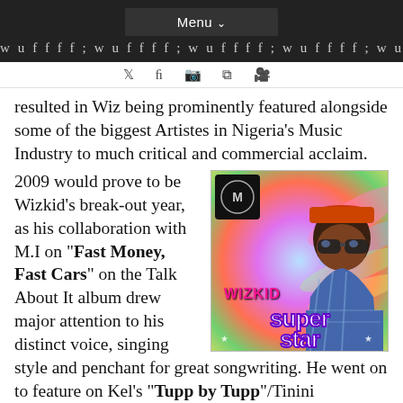Menu
resulted in Wiz being prominently featured alongside some of the biggest Artistes in Nigeria's Music Industry to much critical and commercial acclaim.
[Figure (photo): Wizkid Superstar album cover – young man wearing sunglasses and a cap on a colorful background with 'WIZKID' in pink text and 'SUPER STAR' in large purple/white text. Inset M.I logo (black square).]
2009 would prove to be Wizkid's break-out year, as his collaboration with M.I on "Fast Money, Fast Cars" on the Talk About It album drew major attention to his distinct voice, singing style and penchant for great songwriting. He went on to feature on Kel's "Tupp by Tupp"/Tinini